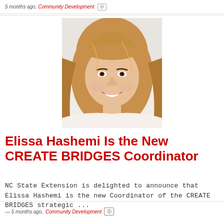5 months ago, Community Development
[Figure (photo): Headshot photo of Elissa Hashemi, a woman with long wavy auburn/blonde hair, smiling, wearing a light-colored top, photographed against a bright background.]
Elissa Hashemi Is the New CREATE BRIDGES Coordinator
NC State Extension is delighted to announce that Elissa Hashemi is the new Coordinator of the CREATE BRIDGES strategic ...
— 5 months ago, Community Development